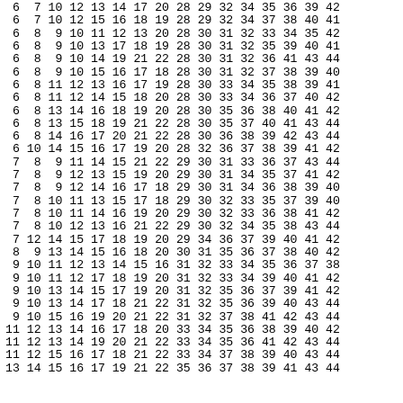| 6 | 7 | 10 | 12 | 13 | 14 | 17 | 20 | 28 | 29 | 32 | 34 | 35 | 36 | 39 | 42 |
| 6 | 7 | 10 | 12 | 15 | 16 | 18 | 19 | 28 | 29 | 32 | 34 | 37 | 38 | 40 | 41 |
| 6 | 8 | 9 | 10 | 11 | 12 | 13 | 20 | 28 | 30 | 31 | 32 | 33 | 34 | 35 | 42 |
| 6 | 8 | 9 | 10 | 13 | 17 | 18 | 19 | 28 | 30 | 31 | 32 | 35 | 39 | 40 | 41 |
| 6 | 8 | 9 | 10 | 14 | 19 | 21 | 22 | 28 | 30 | 31 | 32 | 36 | 41 | 43 | 44 |
| 6 | 8 | 9 | 10 | 15 | 16 | 17 | 18 | 28 | 30 | 31 | 32 | 37 | 38 | 39 | 40 |
| 6 | 8 | 11 | 12 | 13 | 16 | 17 | 19 | 28 | 30 | 33 | 34 | 35 | 38 | 39 | 41 |
| 6 | 8 | 11 | 12 | 14 | 15 | 18 | 20 | 28 | 30 | 33 | 34 | 36 | 37 | 40 | 42 |
| 6 | 8 | 13 | 14 | 16 | 18 | 19 | 20 | 28 | 30 | 35 | 36 | 38 | 40 | 41 | 42 |
| 6 | 8 | 13 | 15 | 18 | 19 | 21 | 22 | 28 | 30 | 35 | 37 | 40 | 41 | 43 | 44 |
| 6 | 8 | 14 | 16 | 17 | 20 | 21 | 22 | 28 | 30 | 36 | 38 | 39 | 42 | 43 | 44 |
| 6 | 10 | 14 | 15 | 16 | 17 | 19 | 20 | 28 | 32 | 36 | 37 | 38 | 39 | 41 | 42 |
| 7 | 8 | 9 | 11 | 14 | 15 | 21 | 22 | 29 | 30 | 31 | 33 | 36 | 37 | 43 | 44 |
| 7 | 8 | 9 | 12 | 13 | 15 | 19 | 20 | 29 | 30 | 31 | 34 | 35 | 37 | 41 | 42 |
| 7 | 8 | 9 | 12 | 14 | 16 | 17 | 18 | 29 | 30 | 31 | 34 | 36 | 38 | 39 | 40 |
| 7 | 8 | 10 | 11 | 13 | 15 | 17 | 18 | 29 | 30 | 32 | 33 | 35 | 37 | 39 | 40 |
| 7 | 8 | 10 | 11 | 14 | 16 | 19 | 20 | 29 | 30 | 32 | 33 | 36 | 38 | 41 | 42 |
| 7 | 8 | 10 | 12 | 13 | 16 | 21 | 22 | 29 | 30 | 32 | 34 | 35 | 38 | 43 | 44 |
| 7 | 12 | 14 | 15 | 17 | 18 | 19 | 20 | 29 | 34 | 36 | 37 | 39 | 40 | 41 | 42 |
| 8 | 9 | 13 | 14 | 15 | 16 | 18 | 20 | 30 | 31 | 35 | 36 | 37 | 38 | 40 | 42 |
| 9 | 10 | 11 | 12 | 13 | 14 | 15 | 16 | 31 | 32 | 33 | 34 | 35 | 36 | 37 | 38 |
| 9 | 10 | 11 | 12 | 17 | 18 | 19 | 20 | 31 | 32 | 33 | 34 | 39 | 40 | 41 | 42 |
| 9 | 10 | 13 | 14 | 15 | 17 | 19 | 20 | 31 | 32 | 35 | 36 | 37 | 39 | 41 | 42 |
| 9 | 10 | 13 | 14 | 17 | 18 | 21 | 22 | 31 | 32 | 35 | 36 | 39 | 40 | 43 | 44 |
| 9 | 10 | 15 | 16 | 19 | 20 | 21 | 22 | 31 | 32 | 37 | 38 | 41 | 42 | 43 | 44 |
| 11 | 12 | 13 | 14 | 16 | 17 | 18 | 20 | 33 | 34 | 35 | 36 | 38 | 39 | 40 | 42 |
| 11 | 12 | 13 | 14 | 19 | 20 | 21 | 22 | 33 | 34 | 35 | 36 | 41 | 42 | 43 | 44 |
| 11 | 12 | 15 | 16 | 17 | 18 | 21 | 22 | 33 | 34 | 37 | 38 | 39 | 40 | 43 | 44 |
| 13 | 14 | 15 | 16 | 17 | 19 | 21 | 22 | 35 | 36 | 37 | 38 | 39 | 41 | 43 | 44 |